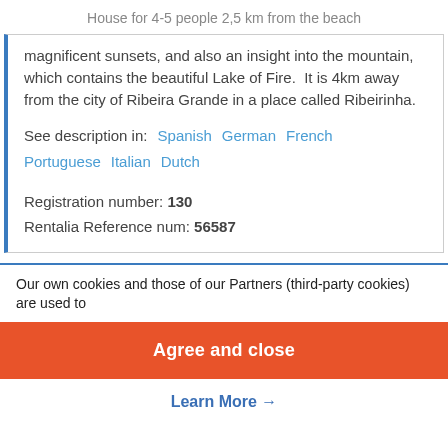House for 4-5 people 2,5 km from the beach
magnificent sunsets, and also an insight into the mountain, which contains the beautiful Lake of Fire.  It is 4km away from the city of Ribeira Grande in a place called Ribeirinha.
See description in:  Spanish  German  French  Portuguese  Italian  Dutch
Registration number: 130
Rentalia Reference num: 56587
Our own cookies and those of our Partners (third-party cookies) are used to
Agree and close
Learn More →